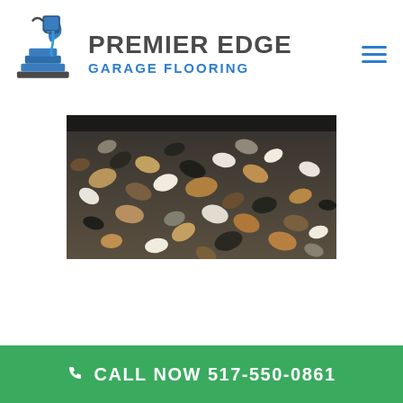[Figure (logo): Premier Edge Garage Flooring logo with blue paint roller icon and company name in dark gray and blue text]
[Figure (photo): Close-up photo of garage floor coating with multicolored decorative flake chips in brown, white, gray and black colors on epoxy surface]
CALL NOW 517-550-0861